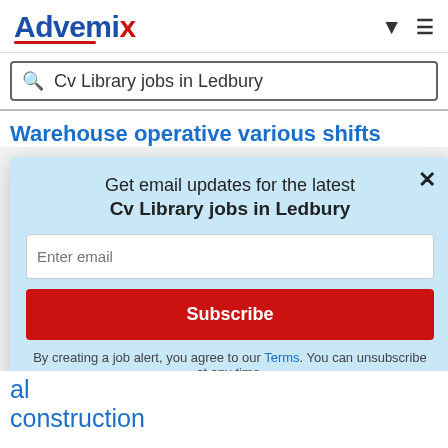[Figure (logo): Advemix logo with blue text and red X and red underline swoosh]
Cv Library jobs in Ledbury
Warehouse operative various shifts
Cv Library
Advemix uses first-party and third-party
Get email updates for the latest
Cv Library jobs in Ledbury
Enter email
Subscribe
By creating a job alert, you agree to our Terms. You can unsubscribe at any time.
al construction